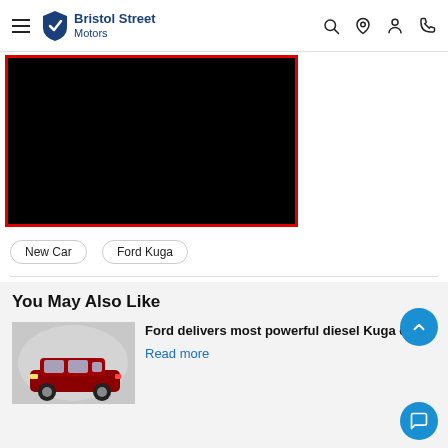Bristol Street Motors
[Figure (screenshot): Black video/image placeholder with red border]
New Car
Ford Kuga
You May Also Like
[Figure (photo): Red Ford Kuga SUV in a tunnel]
Ford delivers most powerful diesel Kuga ever
Read more